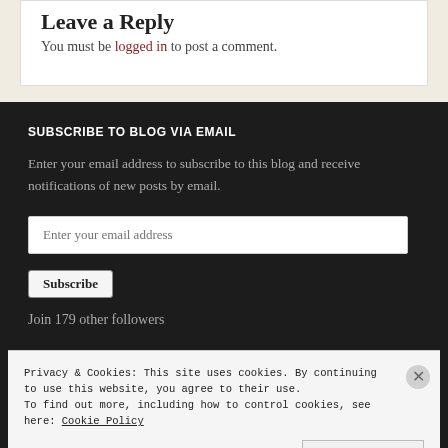Leave a Reply
You must be logged in to post a comment.
SUBSCRIBE TO BLOG VIA EMAIL
Enter your email address to subscribe to this blog and receive notifications of new posts by email.
Enter your email address
Subscribe
Join 179 other followers
Privacy & Cookies: This site uses cookies. By continuing to use this website, you agree to their use.
To find out more, including how to control cookies, see here: Cookie Policy
Close and accept